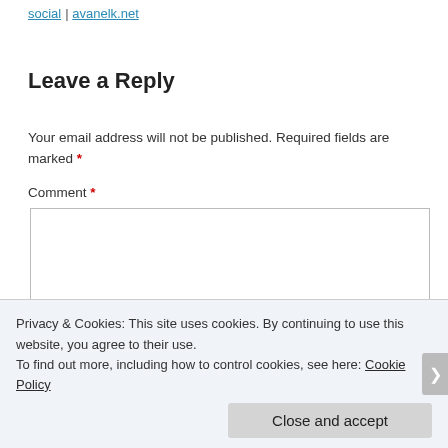social | avanelk.net
Leave a Reply
Your email address will not be published. Required fields are marked *
Comment *
Privacy & Cookies: This site uses cookies. By continuing to use this website, you agree to their use.
To find out more, including how to control cookies, see here: Cookie Policy
Close and accept